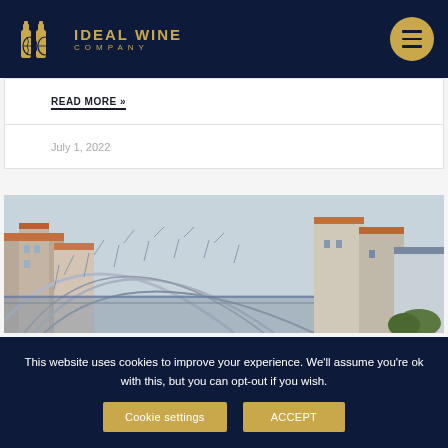IDEAL WINE COMPANY
READ MORE »
July 1, 2022
[Figure (photo): Photograph of a large metal arch bridge (Dom Luís I Bridge style) over a city with terracotta-roofed buildings and residential structures visible below]
This website uses cookies to improve your experience. We'll assume you're ok with this, but you can opt-out if you wish.
Cookie settings
ACCEPT